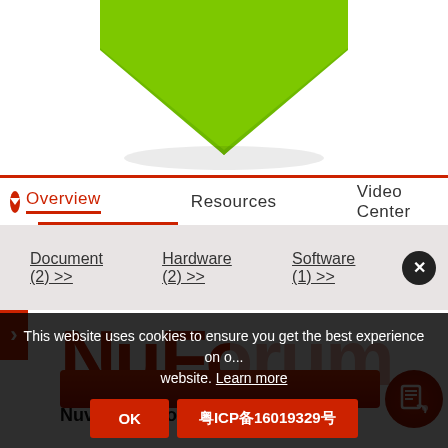[Figure (screenshot): Green downward arrow / chevron graphic at top of page]
Overview | Resources | Video Center
Document (2) >>
Hardware (2) >>
Software (1) >>
[Figure (logo): NuForum logo in red and pink text]
Nuvoton eStore
TechDesign e...
This website uses cookies to ensure you get the best experience on o... website. Learn more
OK
粤ICP备16019329号